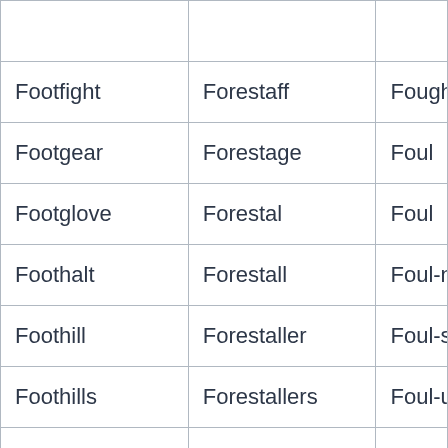| Footfight | Forestaff | Fough… |
| Footgear | Forestage | Foul… |
| Footglove | Forestal | Foul… |
| Foothalt | Forestall | Foul-m… |
| Foothill | Forestaller | Foul-s… |
| Foothills | Forestallers | Foul-u… |
| Foothold | Forestalling | Foulan… |
| Foothook | Forestallments | Foule… |
| Foothot | Forestations | Foulin… |
| Footing | Forestay | Foulm… |